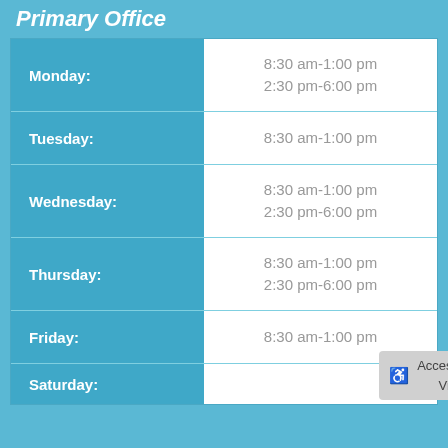Primary Office
| Day | Hours |
| --- | --- |
| Monday: | 8:30 am-1:00 pm
2:30 pm-6:00 pm |
| Tuesday: | 8:30 am-1:00 pm |
| Wednesday: | 8:30 am-1:00 pm
2:30 pm-6:00 pm |
| Thursday: | 8:30 am-1:00 pm
2:30 pm-6:00 pm |
| Friday: | 8:30 am-1:00 pm |
| Saturday: |  |